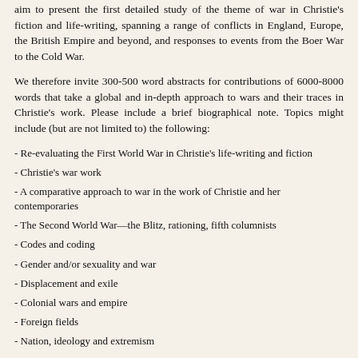aim to present the first detailed study of the theme of war in Christie's fiction and life-writing, spanning a range of conflicts in England, Europe, the British Empire and beyond, and responses to events from the Boer War to the Cold War.
We therefore invite 300-500 word abstracts for contributions of 6000-8000 words that take a global and in-depth approach to wars and their traces in Christie's work. Please include a brief biographical note. Topics might include (but are not limited to) the following:
- Re-evaluating the First World War in Christie's life-writing and fiction
- Christie's war work
- A comparative approach to war in the work of Christie and her contemporaries
- The Second World War—the Blitz, rationing, fifth columnists
- Codes and coding
- Gender and/or sexuality and war
- Displacement and exile
- Colonial wars and empire
- Foreign fields
- Nation, ideology and extremism